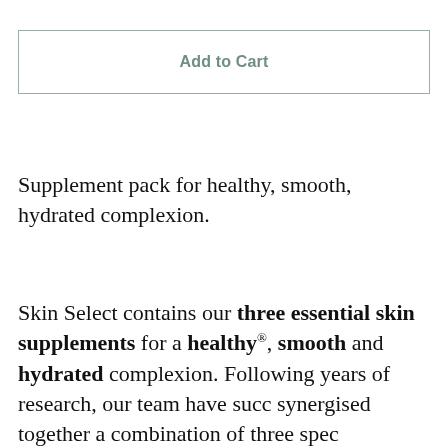Add to Cart
Supplement pack for healthy, smooth, hydrated complexion.
Skin Select contains our three essential skin supplements for a healthy*, smooth and hydrated complexion. Following years of research, our team have successfully synergised together a combination of three specially selected supplements in daily convenient, tear-off beauty